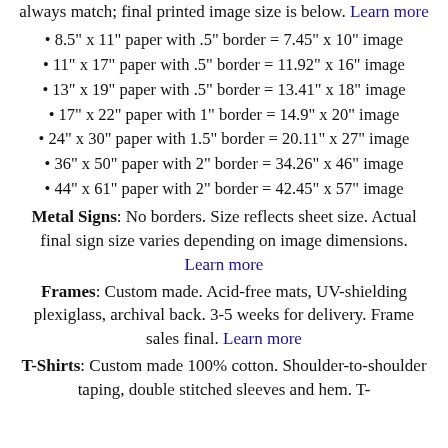always match; final printed image size is below. Learn more
8.5" x 11" paper with .5" border = 7.45" x 10" image
11" x 17" paper with .5" border = 11.92" x 16" image
13" x 19" paper with .5" border = 13.41" x 18" image
17" x 22" paper with 1" border = 14.9" x 20" image
24" x 30" paper with 1.5" border = 20.11" x 27" image
36" x 50" paper with 2" border = 34.26" x 46" image
44" x 61" paper with 2" border = 42.45" x 57" image
Metal Signs: No borders. Size reflects sheet size. Actual final sign size varies depending on image dimensions. Learn more
Frames: Custom made. Acid-free mats, UV-shielding plexiglass, archival back. 3-5 weeks for delivery. Frame sales final. Learn more
T-Shirts: Custom made 100% cotton. Shoulder-to-shoulder taping, double stitched sleeves and hem. T-